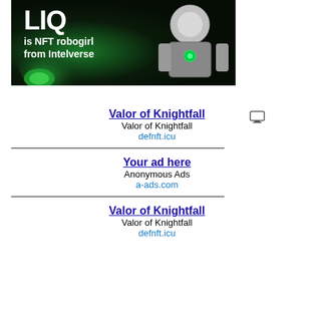[Figure (illustration): Dark themed banner with robot girl character and text 'LIQ is NFT robogirl from Intelverse' in white on green/black background]
[Figure (other): Small monitor/screen icon for ad network indicator]
Valor of Knightfall
Valor of Knightfall
defnft.icu
Your ad here
Anonymous Ads
a-ads.com
Valor of Knightfall
Valor of Knightfall
defnft.icu